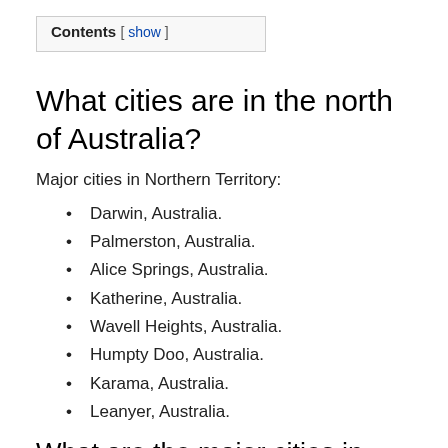Contents [ show ]
What cities are in the north of Australia?
Major cities in Northern Territory:
Darwin, Australia.
Palmerston, Australia.
Alice Springs, Australia.
Katherine, Australia.
Wavell Heights, Australia.
Humpty Doo, Australia.
Karama, Australia.
Leanyer, Australia.
What are the major cities in...